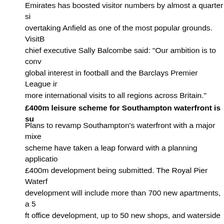Emirates has boosted visitor numbers by almost a quarter since overtaking Anfield as one of the most popular grounds. VisitBritain chief executive Sally Balcombe said: "Our ambition is to convert global interest in football and the Barclays Premier League into more international visits to all regions across Britain."
£400m leisure scheme for Southampton waterfront is su...
Plans to revamp Southampton's waterfront with a major mixed-use scheme have taken a leap forward with a planning application for a £400m development being submitted. The Royal Pier Waterfront development will include more than 700 new apartments, a 500,000 ft office development, up to 50 new shops, and waterside restaurants, cafes and bars. It will also incorporate a 250-bed hotel and a casino with leisure and entertainment facilities. The vision for the development promises "to deliver the most atmospheric urban waterfront experience on the south coast" and will give "unpr... access to the city's water-side" and celebrate its "unique heri... with land, sea and sky".